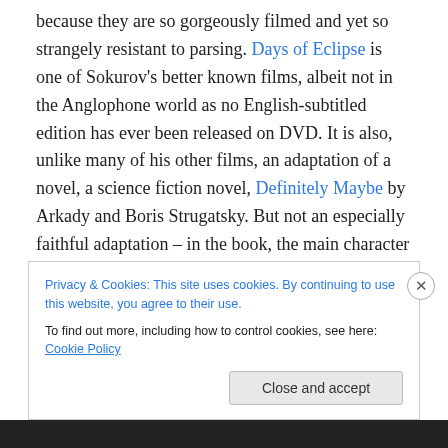because they are so gorgeously filmed and yet so strangely resistant to parsing. Days of Eclipse is one of Sokurov's better known films, albeit not in the Anglophone world as no English-subtitled edition has ever been released on DVD. It is also, unlike many of his other films, an adaptation of a novel, a science fiction novel, Definitely Maybe by Arkady and Boris Strugatsky. But not an especially faithful adaptation – in the book, the main character is an astrophysicist and a mysterious force is interfering with his research; in the film, the main character is a doctor in a poor town Turkmenistan, and he discovers
Privacy & Cookies: This site uses cookies. By continuing to use this website, you agree to their use. To find out more, including how to control cookies, see here: Cookie Policy